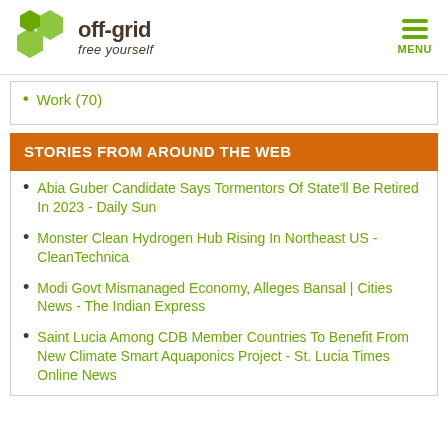off-grid free yourself
Work (70)
STORIES FROM AROUND THE WEB
Abia Guber Candidate Says Tormentors Of State'll Be Retired In 2023 - Daily Sun
Monster Clean Hydrogen Hub Rising In Northeast US - CleanTechnica
Modi Govt Mismanaged Economy, Alleges Bansal | Cities News - The Indian Express
Saint Lucia Among CDB Member Countries To Benefit From New Climate Smart Aquaponics Project - St. Lucia Times Online News